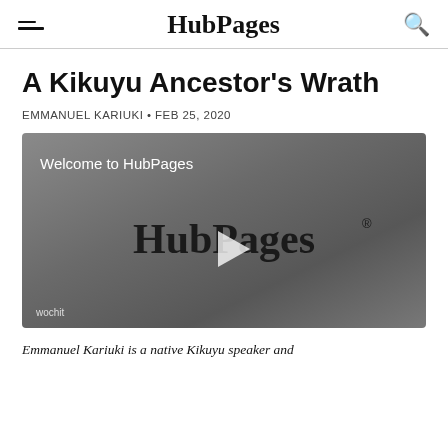HubPages
A Kikuyu Ancestor's Wrath
EMMANUEL KARIUKI • FEB 25, 2020
[Figure (screenshot): Video player showing HubPages welcome video with the HubPages logo and play button. Bottom-left shows 'wochit' watermark.]
Emmanuel Kariuki is a native Kikuyu speaker and